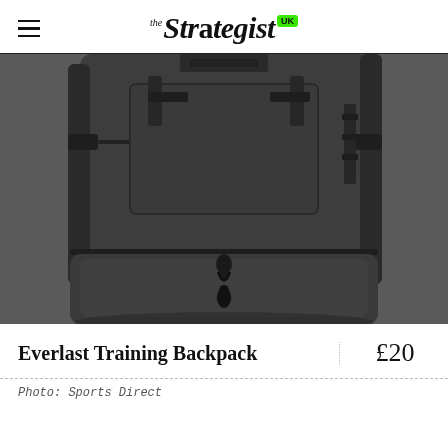the Strategist UK
[Figure (photo): Close-up photograph of a black Everlast Training Backpack showing the main body, straps, and bottom zip compartment against a white background]
Everlast Training Backpack
£20
Photo: Sports Direct